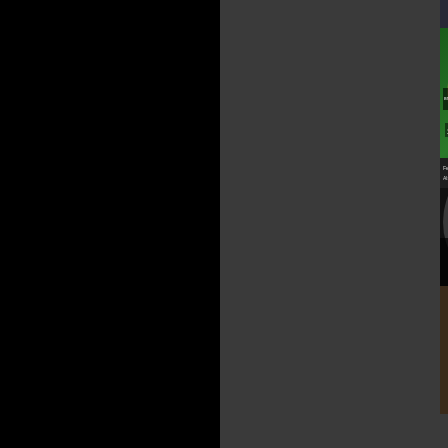[Figure (photo): Partial album cover at top (cropped) - Babyland or similar]
[Figure (photo): Bay Commission album cover - colorful hip hop compilation with Bay Bridge imagery, 18 New Tracks, Bonus DVD]
Artist: J-Di
Title: Bay C
Category:
Record La
Year: 2006
City: Valle
State: Cali
Area Code
[Figure (photo): Suga-T 'Be About It - The New Me' album cover - woman's face in black and white]
Artist: Sug
Title: Be Ab
Category:
Record La
Year: 2006
City: Valle
State: Cali
Area Code
[Figure (photo): Miami album cover - man in white suit holding orange, partial view]
Artist: Mia
Title: Colle
Category:
Record La
Year: 2006
City: Valle
State: Cali
Area Code